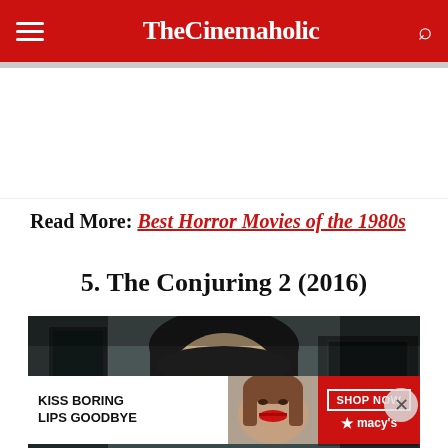TheCinemaholic
Read More: Best Horror Movies of the 1980s
5. The Conjuring 2 (2016)
[Figure (photo): Movie still from The Conjuring 2 (2016) showing a woman with bangs looking forward in a dark, shadowy room]
[Figure (other): Macy's advertisement: KISS BORING LIPS GOODBYE with SHOP NOW button and a woman with red lipstick]